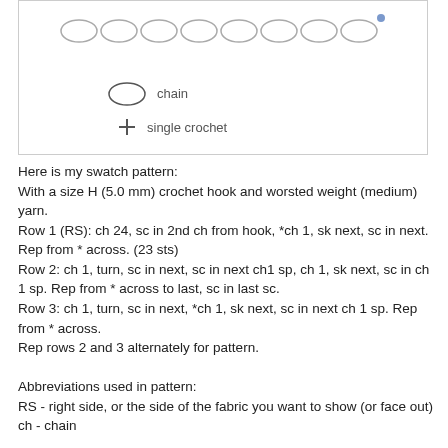[Figure (illustration): Crochet diagram showing a row of chain stitch ovals at the top, and a legend below with an oval labeled 'chain' and a plus sign labeled 'single crochet']
Here is my swatch pattern:
With a size H (5.0 mm) crochet hook and worsted weight (medium) yarn.
Row 1 (RS): ch 24, sc in 2nd ch from hook, *ch 1, sk next, sc in next. Rep from * across. (23 sts)
Row 2: ch 1, turn, sc in next, sc in next ch1 sp, ch 1, sk next, sc in ch 1 sp. Rep from * across to last, sc in last sc.
Row 3: ch 1, turn, sc in next, *ch 1, sk next, sc in next ch 1 sp. Rep from * across.
Rep rows 2 and 3 alternately for pattern.

Abbreviations used in pattern:
RS - right side, or the side of the fabric you want to show (or face out)
ch - chain